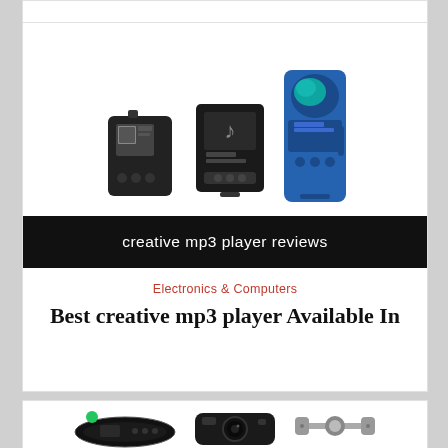[Figure (photo): Three MP3 players shown: a small black square clip-style player, a medium black square player, and a blue slim rectangular player]
[Figure (photo): Black banner with white text reading 'creative mp3 player reviews']
Electronics & Computers
Best creative mp3 player Available In
[Figure (photo): Partial view of three products at bottom: a black oval MP3 player with green logo, a black camera, and a silver phone mount]